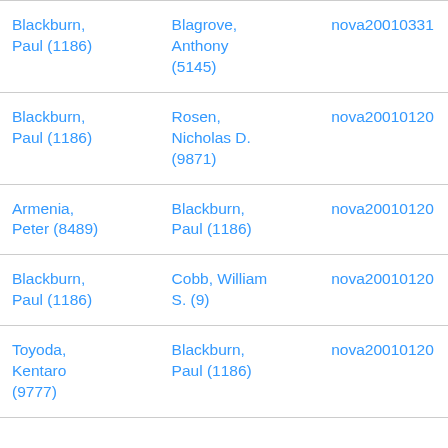| Blackburn, Paul (1186) | Blagrove, Anthony (5145) | nova20010331 |
| Blackburn, Paul (1186) | Rosen, Nicholas D. (9871) | nova20010120 |
| Armenia, Peter (8489) | Blackburn, Paul (1186) | nova20010120 |
| Blackburn, Paul (1186) | Cobb, William S. (9) | nova20010120 |
| Toyoda, Kentaro (9777) | Blackburn, Paul (1186) | nova20010120 |